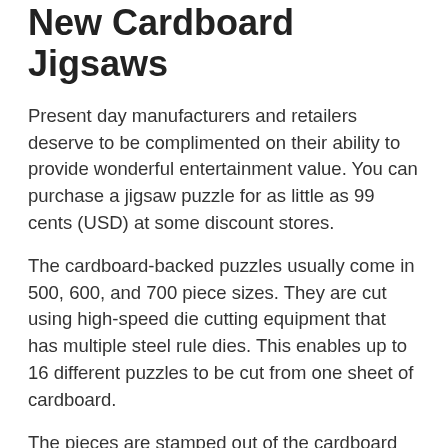New Cardboard Jigsaws
Present day manufacturers and retailers deserve to be complimented on their ability to provide wonderful entertainment value. You can purchase a jigsaw puzzle for as little as 99 cents (USD) at some discount stores.
The cardboard-backed puzzles usually come in 500, 600, and 700 piece sizes. They are cut using high-speed die cutting equipment that has multiple steel rule dies. This enables up to 16 different puzzles to be cut from one sheet of cardboard.
The pieces are stamped out of the cardboard with a tremendous amount of force and then drop into small rectangular boxes that hold about 25 pieces each. The puzzle is complete when it fills up one row in the box. A dozen or so of these little boxes are shrink-wrapped together and sold as a unit.